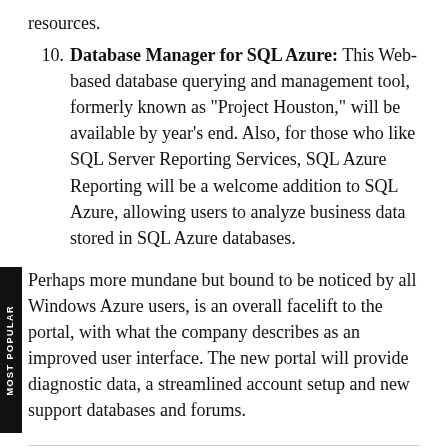resources.
10. Database Manager for SQL Azure: This Web-based database querying and management tool, formerly known as "Project Houston," will be available by year's end. Also, for those who like SQL Server Reporting Services, SQL Azure Reporting will be a welcome addition to SQL Azure, allowing users to analyze business data stored in SQL Azure databases.
Perhaps more mundane but bound to be noticed by all Windows Azure users, is an overall facelift to the portal, with what the company describes as an improved user interface. The new portal will provide diagnostic data, a streamlined account setup and new support databases and forums.
Posted by Jeffrey Schwartz on November 15, 2010 at 11:58 AM